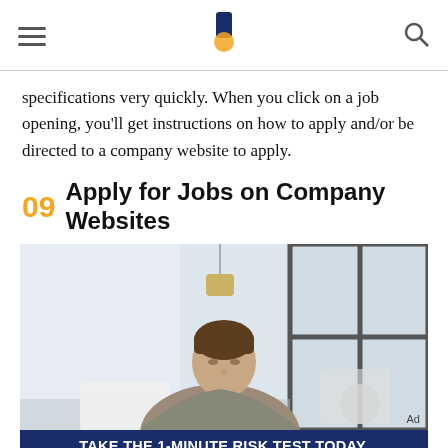≡  [logo]  🔍
specifications very quickly. When you click on a job opening, you'll get instructions on how to apply and/or be directed to a company website to apply.
09 Apply for Jobs on Company Websites
[Figure (photo): A man in a blazer sitting at a desk working on a laptop in a bright office with a hanging lamp and large window.]
Ad
[Figure (infographic): Advertisement banner: TAKE THE 1-MINUTE RISK TEST TODAY. DolHavePrediabetes.org — with ad, AMA, and CDC logos.]